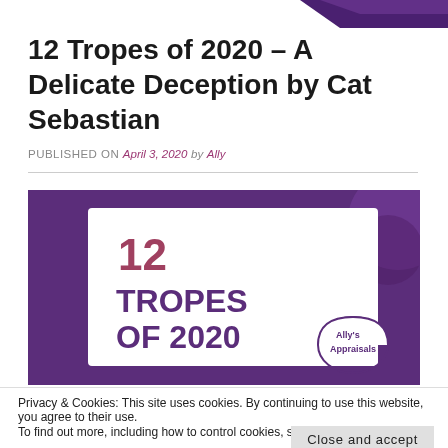12 Tropes of 2020 – A Delicate Deception by Cat Sebastian
PUBLISHED ON April 3, 2020 by Ally
[Figure (infographic): Infographic with purple background showing '12 TROPES OF 2020' in large bold text on a white card, with 'Ally's Appraisals' logo in the bottom right corner]
Privacy & Cookies: This site uses cookies. By continuing to use this website, you agree to their use.
To find out more, including how to control cookies, see here: Cookie Policy
Close and accept